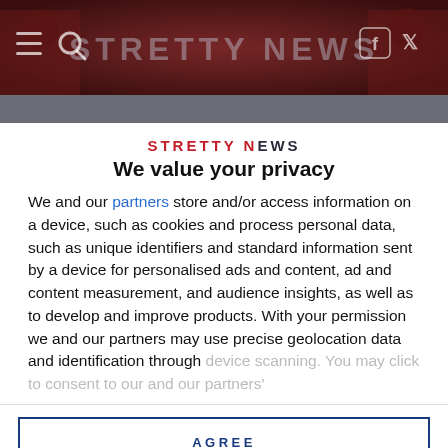[Figure (screenshot): Stretty News website header banner with dark maroon background, hamburger menu and search icons on left, STRETTY NEWS title in large faded grey letters, Facebook and Twitter icons on right]
STRETTY NEWS
We value your privacy
We and our partners store and/or access information on a device, such as cookies and process personal data, such as unique identifiers and standard information sent by a device for personalised ads and content, ad and content measurement, and audience insights, as well as to develop and improve products. With your permission we and our partners may use precise geolocation data and identification through device scanning. You may click to consent to our and our partners'
AGREE
MORE OPTIONS